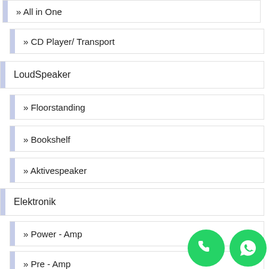» All in One
» CD Player/ Transport
LoudSpeaker
» Floorstanding
» Bookshelf
» Aktivespeaker
Elektronik
» Power - Amp
» Pre - Amp
» Integrated - Amp
Hometheatre